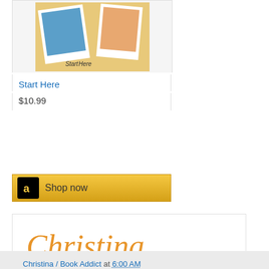[Figure (illustration): Book cover for 'Start Here' showing vacation/travel themed imagery with photos and tropical colors]
Start Here
$10.99
[Figure (logo): Amazon 'Shop now' button with Amazon logo on gold/yellow background]
[Figure (illustration): Cursive script signature reading 'Christina' in orange/gold color on white background]
Christina / Book Addict at 6:00 AM
Share
4 comments:
Angela September 7, 2019 at 3:06 PM